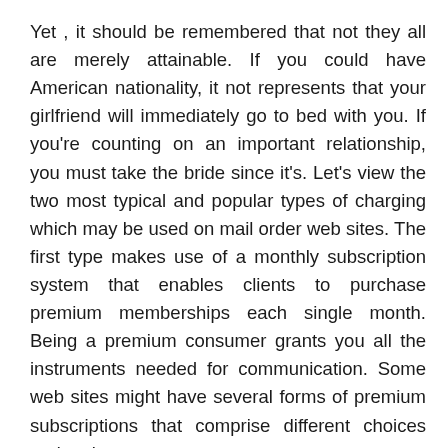Yet , it should be remembered that not they all are merely attainable. If you could have American nationality, it not represents that your girlfriend will immediately go to bed with you. If you're counting on an important relationship, you must take the bride since it's. Let's view the two most typical and popular types of charging which may be used on mail order web sites. The first type makes use of a monthly subscription system that enables clients to purchase premium memberships each single month. Being a premium consumer grants you all the instruments needed for communication. Some web sites might have several forms of premium subscriptions that comprise different choices and options.